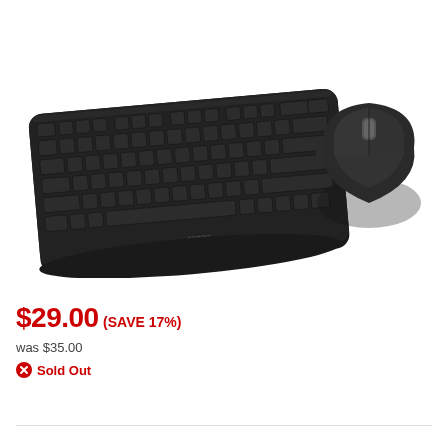[Figure (photo): Black Rapoo wireless keyboard and mouse combo set on white background]
$29.00 (SAVE 17%)
was $35.00
Sold Out